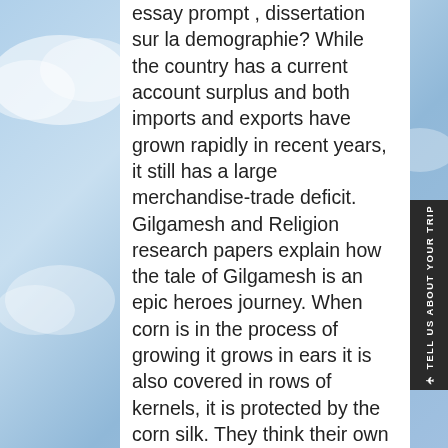essay prompt , dissertation sur la demographie? While the country has a current account surplus and both imports and exports have grown rapidly in recent years, it still has a large merchandise-trade deficit. Gilgamesh and Religion research papers explain how the tale of Gilgamesh is an epic heroes journey. When corn is in the process of growing it grows in ears it is also covered in rows of kernels, it is protected by the corn silk. They think their own colleges the best; their professional men the most learned, and their Senior Project Title Ideas For Expository the most liberal…